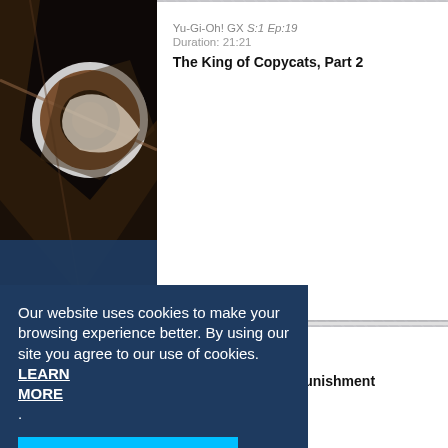[Figure (screenshot): Anime screenshot thumbnail for Yu-Gi-Oh! GX episode, showing stylized dark eye/face scene]
Yu-Gi-Oh! GX S:1 Ep:19
Duration: 21:21
The King of Copycats, Part 2
[Figure (screenshot): Anime screenshot thumbnail for Yu-Gi-Oh! GX S:1 Ep:7]
Yu-Gi-Oh! GX S:1 Ep:7
Duration: 20:27
Duel and Unusual Punishment
[Figure (screenshot): Anime screenshot thumbnail for Yu-Gi-Oh! S:4 Ep:38]
Yu-Gi-Oh! S:4 Ep:38
Duration: 21:21
A Duel With Dartz!, Part 6
[Figure (screenshot): Anime screenshot thumbnail for Yu-Gi-Oh! S:3 Ep:42]
Yu-Gi-Oh! S:3 Ep:42
Duration: 21:21
The Final Face-Off, Part 2
Our website uses cookies to make your browsing experience better. By using our site you agree to our use of cookies. LEARN MORE.
Accept